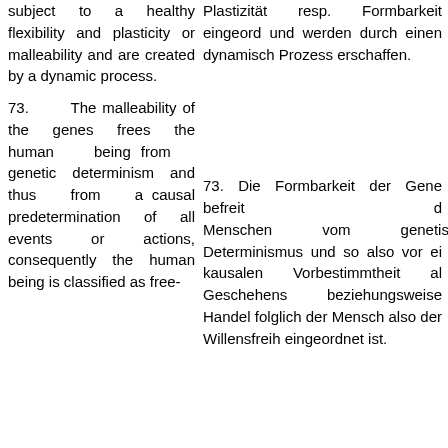subject to a healthy flexibility and plasticity or malleability and are created by a dynamic process.
Plastizität resp. Formbarkeit eingeord und werden durch einen dynamisch Prozess erschaffen.
73. The malleability of the genes frees the human being from genetic determinism and thus from a causal predetermination of all events or actions, consequently the human being is classified as free-
73. Die Formbarkeit der Gene befreit d Menschen vom genetisch Determinismus und so also vor ei kausalen Vorbestimmtheit al Geschehens beziehungsweise Handel folglich der Mensch also der Willensfreih eingeordnet ist.